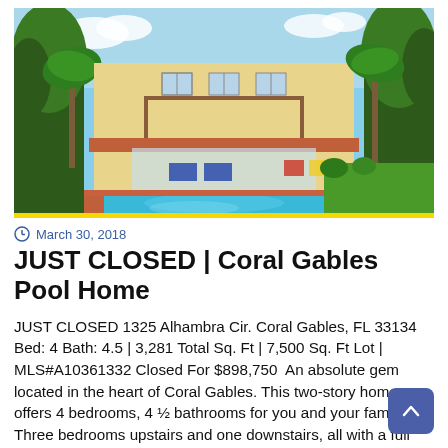[Figure (photo): Exterior photo of a two-story yellow stucco pool home in Coral Gables with a large rectangular swimming pool, red brick patio, palm trees, and tropical landscaping.]
March 30, 2018
JUST CLOSED | Coral Gables Pool Home
JUST CLOSED 1325 Alhambra Cir. Coral Gables, FL 33134 Bed: 4 Bath: 4.5 | 3,281 Total Sq. Ft | 7,500 Sq. Ft Lot | MLS#A10361332 Closed For $898,750  An absolute gem located in the heart of Coral Gables. This two-story home offers 4 bedrooms, 4 ½ bathrooms for you and your family. Three bedrooms upstairs and one downstairs, all with a full bathroom. There is also a half bath on the first floor for your guests. As you make your way into the home, you will feel the cozy and warm feeling from all the natural light that...